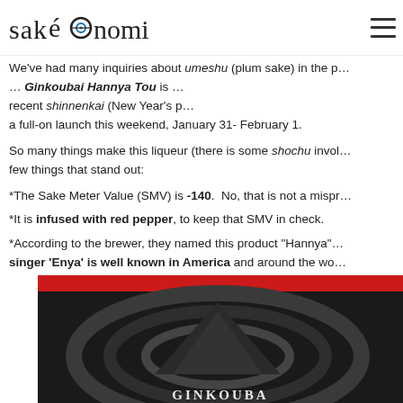saké nomi
We've had many inquiries about umeshu (plum sake) in the past, leading us to explore our options. Our pick: Ginkoubai Hannya Tou is a recent shinnenkai (New Year's pick) and a full-on launch this weekend, January 31- February 1.
So many things make this liqueur (there is some shochu involved) special, but a few things that stand out:
*The Sake Meter Value (SMV) is -140.  No, that is not a misprint.
*It is infused with red pepper, to keep that SMV in check.
*According to the brewer, they named this product "Hannya" because the singer 'Enya' is well known in America and around the world. Since this famous singer's name sounds similar to 'Hannya,' we think its name will be easy for Westerners to remember."  Amazing, right?
[Figure (photo): Product photo of Ginkoubai Hannya Tou sake bottle with red label and stylized mountain/wave design]